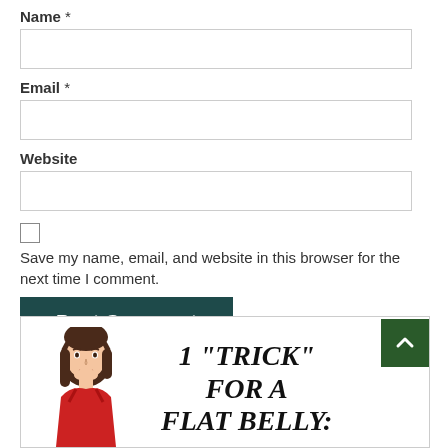Name *
Email *
Website
Save my name, email, and website in this browser for the next time I comment.
Post Comment
[Figure (illustration): Advertisement box with an illustrated woman figure and large italic bold text reading: 1 "TRICK" FOR A FLAT BELLY:]